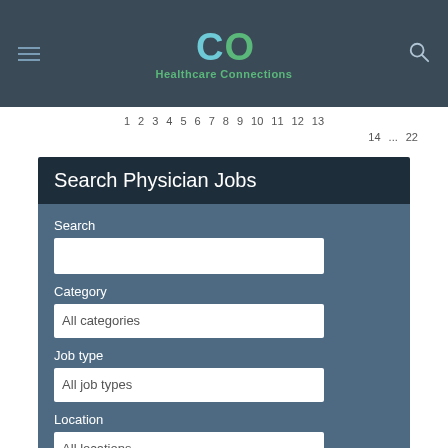Healthcare Connections
1 2 3 4 5 6 7 8 9 10 11 12 13
14 ... 22
Search Physician Jobs
Search
Category
All categories
Job type
All job types
Location
All locations